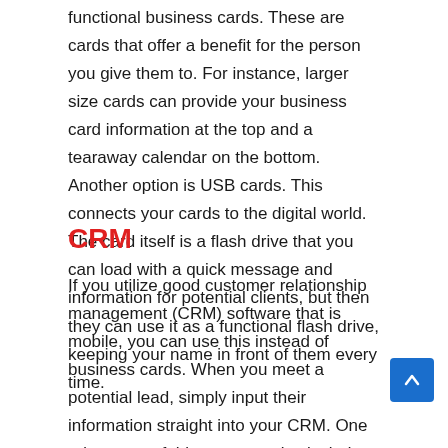functional business cards. These are cards that offer a benefit for the person you give them to. For instance, larger size cards can provide your business card information at the top and a tearaway calendar on the bottom. Another option is USB cards. This connects your cards to the digital world. The card itself is a flash drive that you can load with a quick message and information for potential clients, but then they can use it as a functional flash drive, keeping your name in front of them every time.
CRM
If you utilize good customer relationship management (CRM) software that is mobile, you can use this instead of business cards. When you meet a potential lead, simply input their information straight into your CRM. One advantage of this, you can also include notes to remind yourself about the connection you made. However, this does not give your